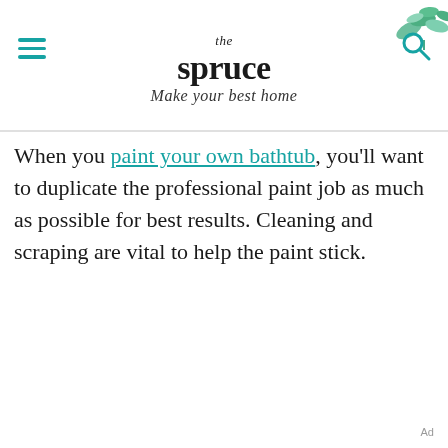the spruce — Make your best home
When you paint your own bathtub, you'll want to duplicate the professional paint job as much as possible for best results. Cleaning and scraping are vital to help the paint stick.
Ad